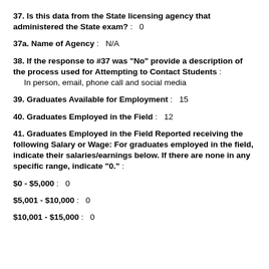37. Is this data from the State licensing agency that administered the State exam? :  0
37a. Name of Agency :  N/A
38. If the response to #37 was "No" provide a description of the process used for Attempting to Contact Students :  In person, email, phone call and social media
39. Graduates Available for Employment :  15
40. Graduates Employed in the Field :  12
41. Graduates Employed in the Field Reported receiving the following Salary or Wage: For graduates employed in the field, indicate their salaries/earnings below. If there are none in any specific range, indicate "0." :
$0 - $5,000 :  0
$5,001 - $10,000 :  0
$10,001 - $15,000 :  0